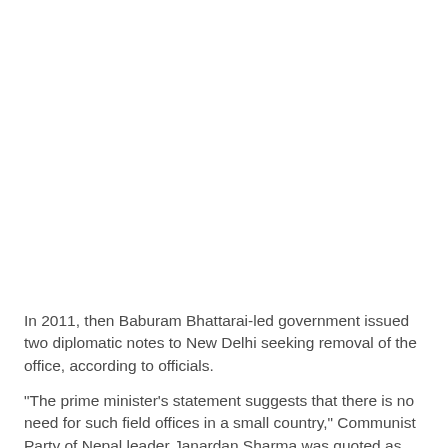In 2011, then Baburam Bhattarai-led government issued two diplomatic notes to New Delhi seeking removal of the office, according to officials.
"The prime minister's statement suggests that there is no need for such field offices in a small country," Communist Party of Nepal leader Janardan Sharma was quoted as